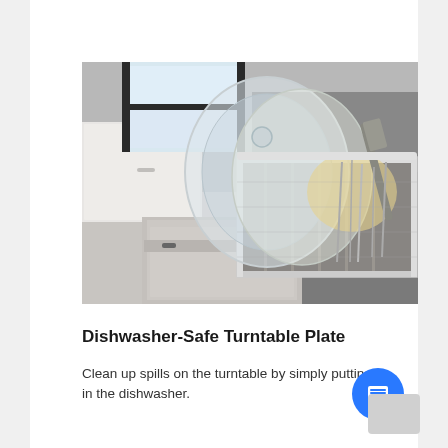[Figure (photo): A dishwasher basket loaded with dishes including large glass lids, cutlery, and a spatula, open in a kitchen setting with white cabinetry and a window in the background.]
Dishwasher-Safe Turntable Plate
Clean up spills on the turntable by simply putting it in the dishwasher.